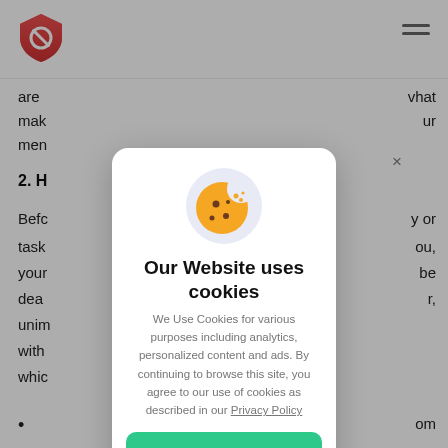[Figure (logo): Red shield logo with a white prohibition/cancel circle icon in the center]
[Figure (illustration): Hamburger menu icon (three horizontal lines) in top right corner]
are
vhat
mak
ur
men
2. H
Befe
y or
task
ou,
your
be
dea
r,
unim
with
whic
om
[Figure (illustration): Cookie consent modal dialog with a cookie emoji icon in a light blue circle at the top]
Our Website uses cookies
We Use Cookies for various purposes including analytics, personalized content and ads. By continuing to browse this site, you agree to our use of cookies as described in our Privacy Policy
OK, GOT IT